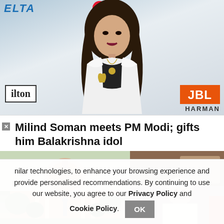[Figure (photo): Woman posing at an event with Delta, Mastercard, Hilton, JBL/Harman sponsor logos visible in background]
Milind Soman meets PM Modi; gifts him Balakrishna idol
[Figure (photo): Supreme Court of India building with dome visible, trees in foreground]
[Figure (photo): Elderly man (PM Modi) in meeting setting]
nilar technologies, to enhance your browsing experience and provide personalised recommendations. By continuing to use our website, you agree to our Privacy Policy and Cookie Policy.